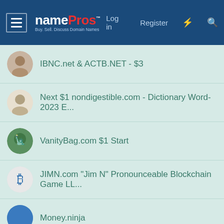namePros - Log in Register
IBNC.net & ACTB.NET - $3
Next $1 nondigestible.com - Dictionary Word- 2023 E...
VanityBag.com $1 Start
JIMN.com "Jim N" Pronounceable Blockchain Game LL...
Money.ninja
[Figure (logo): domain recover logo with tagline 'We just catch names!']
NamePros uses cookies and similar technologies. By using this site, you are agreeing to our privacy policy, terms, and use of cookies.